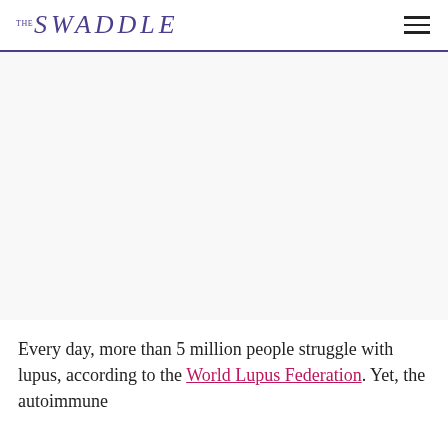THE SWADDLE
[Figure (photo): Large image area (blank/white placeholder) taking up the middle section of the page]
Every day, more than 5 million people struggle with lupus, according to the World Lupus Federation. Yet, the autoimmune